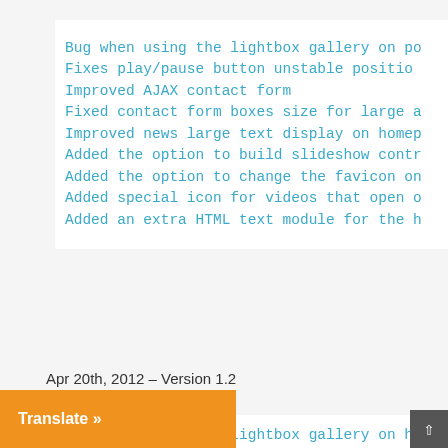Bug when using the lightbox gallery on po
Fixes play/pause button unstable positio
Improved AJAX contact form
Fixed contact form boxes size for large a
Improved news large text display on homep
Added the option to build slideshow contr
Added the option to change the favicon on
Added special icon for videos that open o
Added an extra HTML text module for the h
Apr 20th, 2012 – Version 1.2
Bug when using the lightbox gallery on ho
e left menu section spacing w